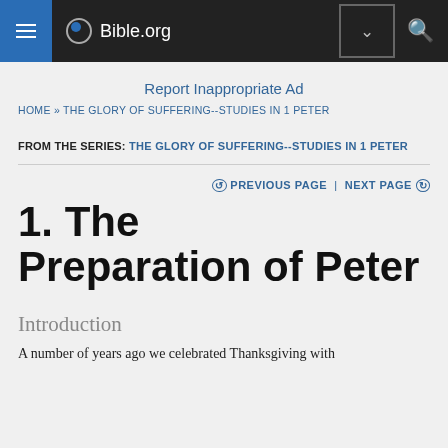[Figure (screenshot): Bible.org website navigation bar with hamburger menu, Bible.org logo with circle icon, dropdown button, and search icon on dark background]
Report Inappropriate Ad
HOME » THE GLORY OF SUFFERING--STUDIES IN 1 PETER
FROM THE SERIES: THE GLORY OF SUFFERING--STUDIES IN 1 PETER
⊕ PREVIOUS PAGE | NEXT PAGE ⊕
1. The Preparation of Peter
Introduction
A number of years ago we celebrated Thanksgiving with